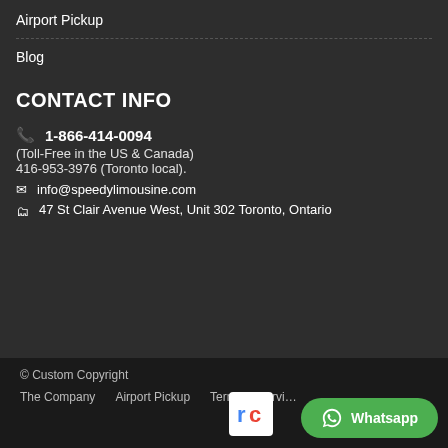Airport Pickup
Blog
CONTACT INFO
📞 1-866-414-0094 (Toll-Free in the US & Canada) 416-953-3976 (Toronto local).
✉ info@speedylimousine.com
📍 47 St Clair Avenue West, Unit 302 Toronto, Ontario
© Custom Copyright   The Company   Airport Pickup   Terms & Service
Whatsapp